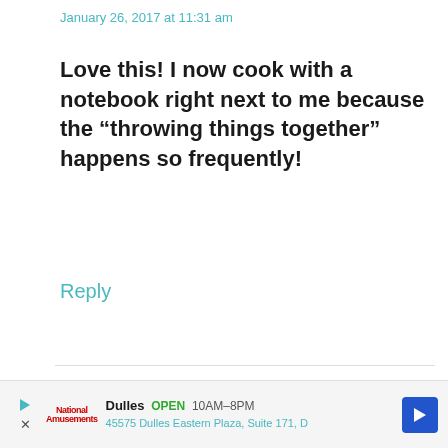January 26, 2017 at 11:31 am
Love this! I now cook with a notebook right next to me because the “throwing things together” happens so frequently!
Reply
Ruby & Cake says
January 24, 2017 at 8:35 pm
ugh this happens to me all the time when it works once and then you
Dulles OPEN 10AM–8PM 45575 Dulles Eastern Plaza, Suite 171, D